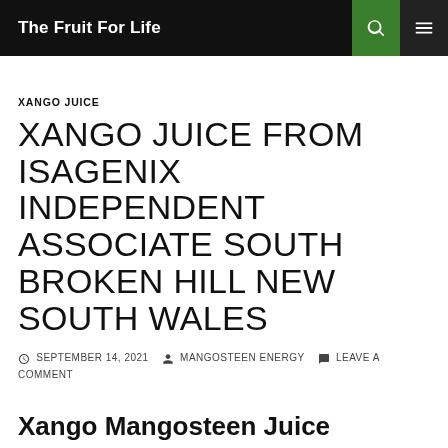The Fruit For Life
XANGO JUICE
XANGO JUICE FROM ISAGENIX INDEPENDENT ASSOCIATE SOUTH BROKEN HILL NEW SOUTH WALES
SEPTEMBER 14, 2021  MANGOSTEEN ENERGY  LEAVE A COMMENT
Xango Mangosteen Juice